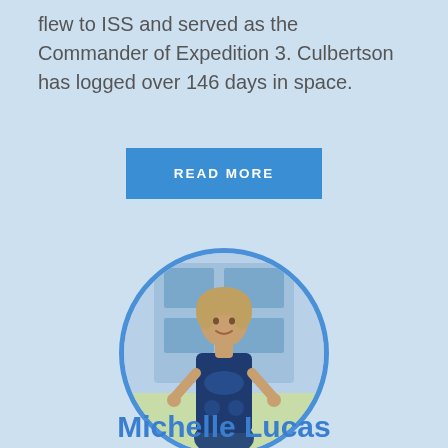flew to ISS and served as the Commander of Expedition 3. Culbertson has logged over 146 days in space.
READ MORE
[Figure (photo): Circular portrait photo of Michelle Lucas standing in front of a modern building, wearing a dark blue patterned dress, with a blue circular border.]
Michelle Lucas